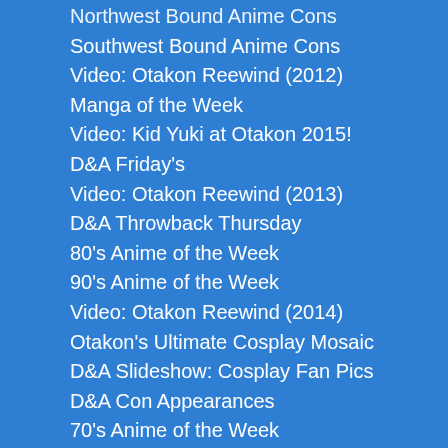Northwest Bound Anime Cons
Southwest Bound Anime Cons
Video: Otakon Reewind (2012)
Manga of the Week
Video: Kid Yuki at Otakon 2015!
D&A Friday's
Video: Otakon Reewind (2013)
D&A Throwback Thursday
80's Anime of the Week
90's Anime of the Week
Video: Otakon Reewind (2014)
Otakon's Ultimate Cosplay Mosaic
D&A Slideshow: Cosplay Fan Pics
D&A Con Appearances
70's Anime of the Week
Slash Saturday
Samurai Anime of the Week
Miscellany Monday
Anime of the Day
D&A's Talkin' Snack!
Samurai Hall of Fame: Edo's Warriors